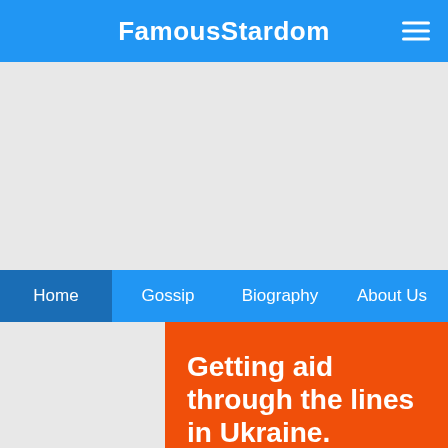FamousStardom
[Figure (screenshot): Advertisement / empty banner area]
Home  Gossip  Biography  About Us
Getting aid through the lines in Ukraine.